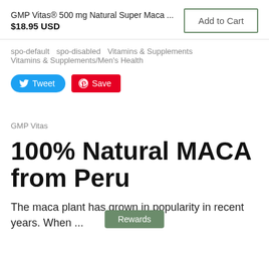GMP Vitas® 500 mg Natural Super Maca ... $18.95 USD
spo-default  spo-disabled  Vitamins & Supplements  Vitamins & Supplements/Men's Health
[Figure (other): Tweet and Save (Pinterest) social share buttons]
GMP Vitas
100% Natural MACA from Peru
The maca plant has grown in popularity in recent years. When ...